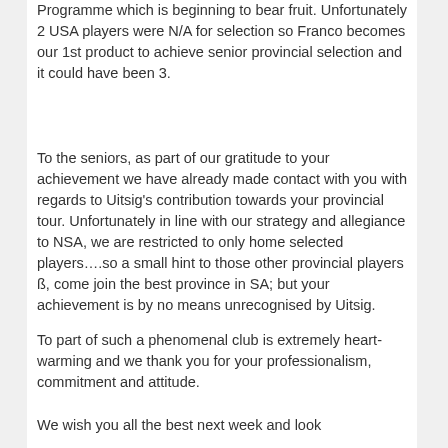Programme which is beginning to bear fruit. Unfortunately 2 USA players were N/A for selection so Franco becomes our 1st product to achieve senior provincial selection and it could have been 3.
To the seniors, as part of our gratitude to your achievement we have already made contact with you with regards to Uitsig's contribution towards your provincial tour. Unfortunately in line with our strategy and allegiance to NSA, we are restricted to only home selected players….so a small hint to those other provincial players ß, come join the best province in SA; but your achievement is by no means unrecognised by Uitsig.
To part of such a phenomenal club is extremely heart-warming and we thank you for your professionalism, commitment and attitude.
We wish you all the best next week and look